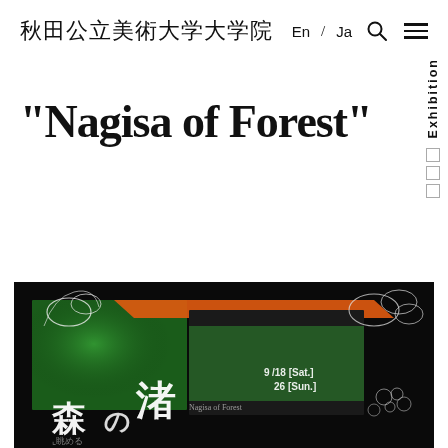秋田公立美術大学大学院  En / Ja 🔍 ≡
Exhibition
"Nagisa of Forest"
[Figure (photo): Exhibition poster for 'Nagisa of Forest' / 森の渚 showing dark background with green and orange light projections, white line art of plants/clouds, Japanese text 森の渚, 18[Sat.] 26[Sun.], and exhibition details.]